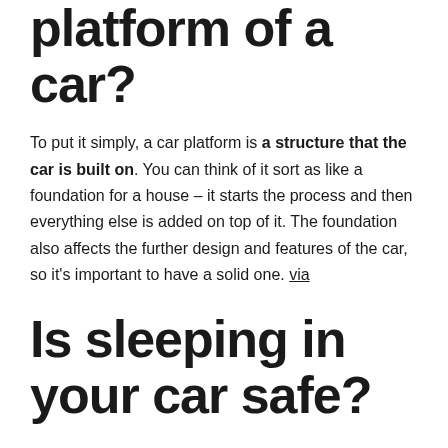platform of a car?
To put it simply, a car platform is a structure that the car is built on. You can think of it sort as like a foundation for a house – it starts the process and then everything else is added on top of it. The foundation also affects the further design and features of the car, so it's important to have a solid one. via
Is sleeping in your car safe?